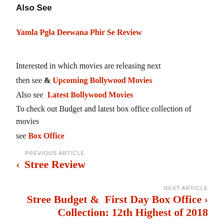Also See
Yamla Pgla Deewana Phir Se Review
Interested in which movies are releasing next then see & Upcoming Bollywood Movies
Also see  Latest Bollywood Movies
To check out Budget and latest box office collection of movies see Box Office
PREVIOUS ARTICLE
< Stree Review
NEXT ARTICLE
Stree Budget &  First Day Box Office Collection: 12th Highest of 2018 >